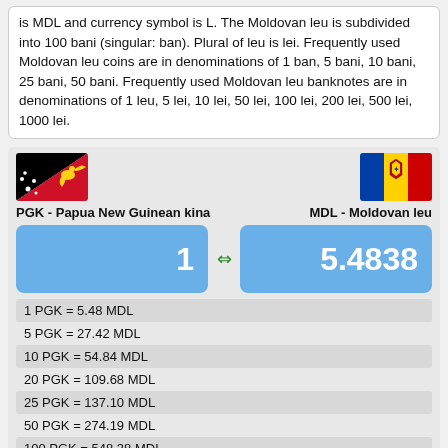is MDL and currency symbol is L. The Moldovan leu is subdivided into 100 bani (singular: ban). Plural of leu is lei. Frequently used Moldovan leu coins are in denominations of 1 ban, 5 bani, 10 bani, 25 bani, 50 bani. Frequently used Moldovan leu banknotes are in denominations of 1 leu, 5 lei, 10 lei, 50 lei, 100 lei, 200 lei, 500 lei, 1000 lei.
[Figure (infographic): Papua New Guinea flag (black with bird of paradise) on left, Moldova flag (blue/yellow/red with coat of arms) on right]
PGK - Papua New Guinean kina
MDL - Moldovan leu
1
5.4838
| 1 PGK = 5.48 MDL |
| 5 PGK = 27.42 MDL |
| 10 PGK = 54.84 MDL |
| 20 PGK = 109.68 MDL |
| 25 PGK = 137.10 MDL |
| 50 PGK = 274.19 MDL |
| 100 PGK = 548.38 MDL |
| 200 PGK = 1,096.77 MDL |
| 250 PGK = 1,370.96 MDL |
| 500 PGK = 2,741.92 MDL |